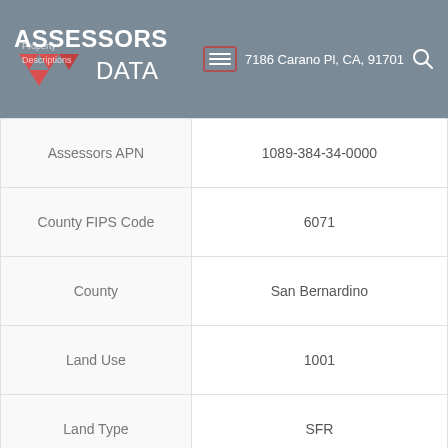ASSESSORS DATA — 7186 Carano Pl, CA, 91701
| Field | Value |
| --- | --- |
| Assessors APN | 1089-384-34-0000 |
| County FIPS Code | 6071 |
| County | San Bernardino |
| Land Use | 1001 |
| Land Type | SFR |
| Current Owner | Available with Paid Account
AssessorsData.com |
| Property Address | 7186 Carano Pl |